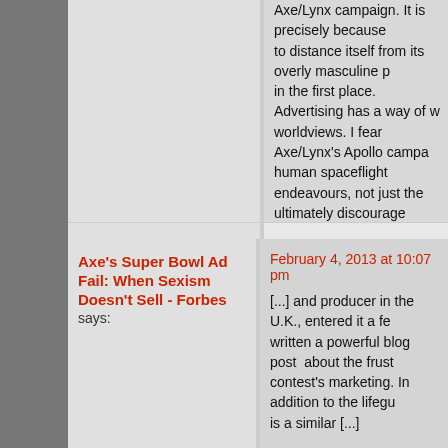Axe/Lynx campaign. It is precisely because to distance itself from its overly masculine p in the first place. Advertising has a way of w worldviews. I fear Axe/Lynx's Apollo campa human spaceflight endeavours, not just the ultimately discourage young women from in become an astronaut.

Disclaimer: I have read some but not all of t
Axe's Super Bowl Ad Fail: When Sexism Doesn't Sell - Forbes says:
February 4, 2013 at 10:07 pm
[...] and producer in the U.K., entered it a fe written a powerful blog post  about the frust contest's marketing. In addition to the lifegu is a similar [...]
[Figure (photo): Avatar photo of Julio Aprea - a person with dark hair]
Julio Aprea says:
February 5, 2013 at 6:46 am
Axe/Lynx has managed to spam our inboxe colleagues that were being really annoying discriminate and objectify women. I think th campaigns ever, and it is such a pity that it